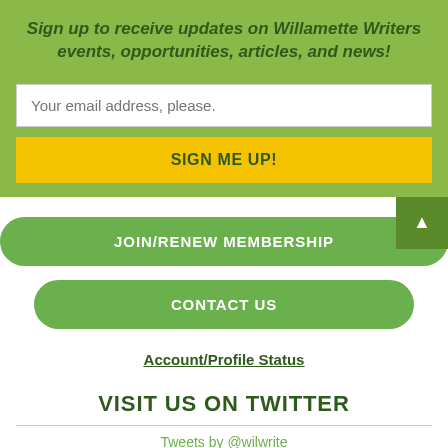Sign up to receive updates on Willamette Writers events, opportunities, articles, and news!
Your email address, please.
SIGN ME UP!
JOIN/RENEW MEMBERSHIP
CONTACT US
Account/Profile Status
VISIT US ON TWITTER
Tweets by @wilwrite